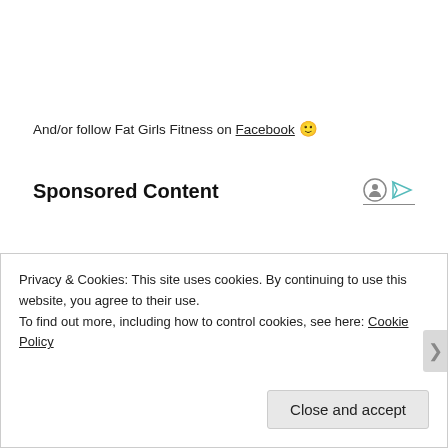And/or follow Fat Girls Fitness on Facebook 🙂
Sponsored Content
Privacy & Cookies: This site uses cookies. By continuing to use this website, you agree to their use.
To find out more, including how to control cookies, see here: Cookie Policy
Close and accept